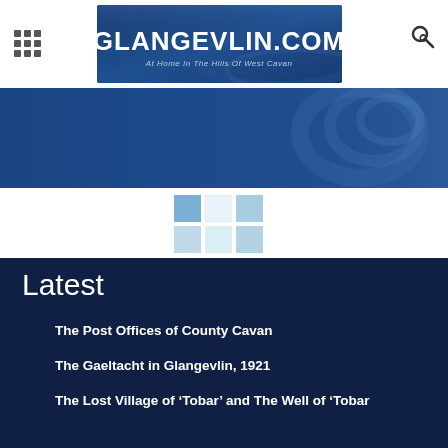[Figure (logo): Glangevlin.com website logo banner — dark blue background with white bold text 'GLANGEVLIN.COM' and subtitle 'At Home In The Hills Of West Cavan']
[Figure (photo): Wide dark blue website header banner with a faint decorative swirl/wave on the right side]
[Figure (other): Loading grid placeholder — 3x2 grid of light blue and white squares]
Latest
The Post Offices of County Cavan
The Gaeltacht in Glangevlin, 1921
The Lost Village of 'Tobar' and The Well of 'Tobar M...